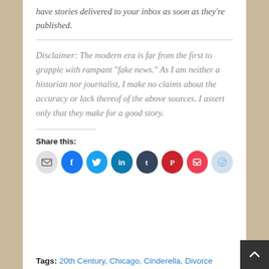have stories delivered to your inbox as soon as they're published.
Disclaimer: The modern era is far from the first to grapple with rampant “fake news.” As I am neither a historian nor journalist, I make no claims about the accuracy or lack thereof of the above sources. I assert only that they make for a good story.
Share this:
[Figure (infographic): Row of social share buttons: email (grey), Facebook (blue), Twitter (light blue), LinkedIn (teal/dark blue), Tumblr (dark navy), Pinterest (red), Pocket (dark red), Reddit (light blue/grey)]
Tags: 20th Century, Chicago, Cinderella, Divorce